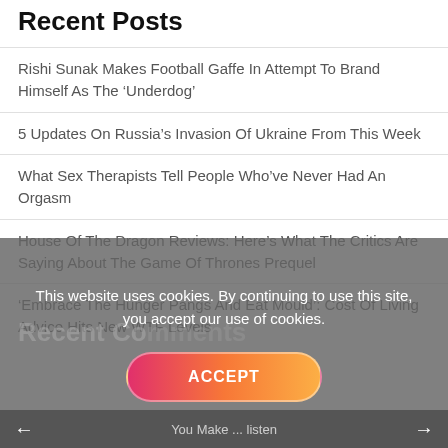Recent Posts
Rishi Sunak Makes Football Gaffe In Attempt To Brand Himself As The ‘Underdog’
5 Updates On Russia’s Invasion Of Ukraine From This Week
What Sex Therapists Tell People Who’ve Never Had An Orgasm
House Of The Dragon Reviews: Here’s What The Critics Are Saying About The Game Of Thrones Prequel
‘Embrace The Hunger Pangs And Eat Mould’: Cost Of Living Advice Hits New WTF Levels
This website uses cookies. By continuing to use this site, you accept our use of cookies.
ACCEPT